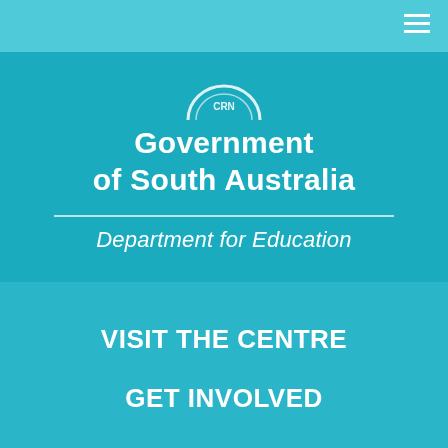[Figure (logo): Government of South Australia – Department for Education logo with circular emblem and horizontal divider]
VISIT THE CENTRE
GET INVOLVED
EDUCATION